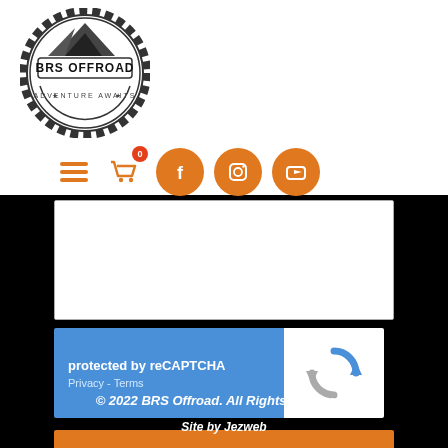[Figure (logo): BRS Offroad circular logo with mountain graphic and tire tread border]
[Figure (infographic): Navigation bar with hamburger menu, shopping cart with badge 0, and orange circle social icons for Facebook, Instagram, YouTube]
[Figure (screenshot): White text area input box (message field of a contact form)]
[Figure (screenshot): reCAPTCHA widget: blue left panel with 'protected by reCAPTCHA' text and Privacy - Terms links, white right panel with reCAPTCHA logo]
SEND
© 2022 BRS Offroad. All Rights Reserved.
Site by Jezweb